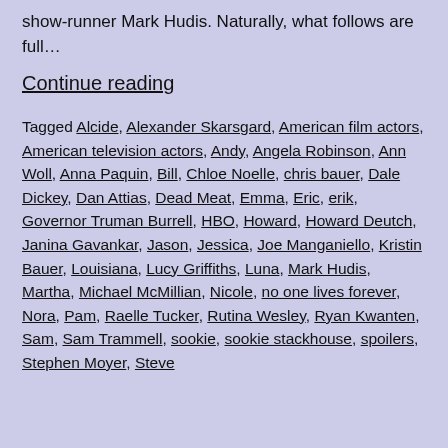show-runner Mark Hudis. Naturally, what follows are full…
Continue reading
Tagged Alcide, Alexander Skarsgard, American film actors, American television actors, Andy, Angela Robinson, Ann Woll, Anna Paquin, Bill, Chloe Noelle, chris bauer, Dale Dickey, Dan Attias, Dead Meat, Emma, Eric, erik, Governor Truman Burrell, HBO, Howard, Howard Deutch, Janina Gavankar, Jason, Jessica, Joe Manganiello, Kristin Bauer, Louisiana, Lucy Griffiths, Luna, Mark Hudis, Martha, Michael McMillian, Nicole, no one lives forever, Nora, Pam, Raelle Tucker, Rutina Wesley, Ryan Kwanten, Sam, Sam Trammell, sookie, sookie stackhouse, spoilers, Stephen Moyer, Steve